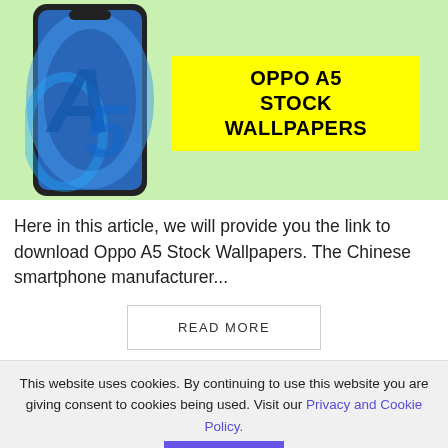[Figure (illustration): Banner image with light green background showing an Oppo A5 smartphone on the left and a yellow rectangle on the right with bold black text reading 'OPPO A5 STOCK WALLPAPERS']
Here in this article, we will provide you the link to download Oppo A5 Stock Wallpapers. The Chinese smartphone manufacturer...
READ MORE
This website uses cookies. By continuing to use this website you are giving consent to cookies being used. Visit our Privacy and Cookie Policy.
I Agree